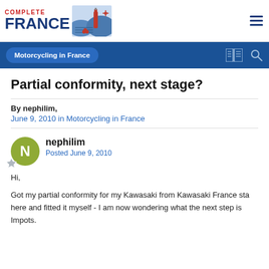[Figure (logo): Complete France website logo with red 'COMPLETE' text, large blue 'FRANCE' text, and an illustration of a French countryside with a wine bottle]
Motorcycling in France
Partial conformity, next stage?
By nephilim,
June 9, 2010 in Motorcycling in France
nephilim
Posted June 9, 2010
Hi,

Got my partial conformity for my Kawasaki from Kawasaki France sta here and fitted it myself - I am now wondering what the next step is Impots.